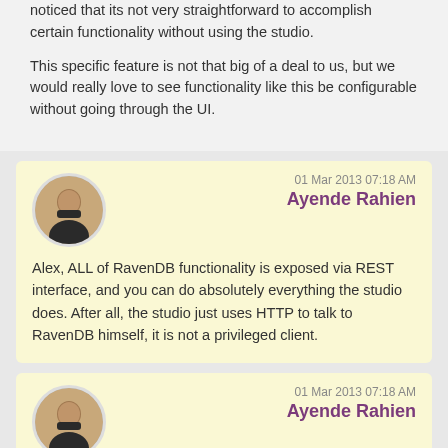noticed that its not very straightforward to accomplish certain functionality without using the studio.
This specific feature is not that big of a deal to us, but we would really love to see functionality like this be configurable without going through the UI.
01 Mar 2013 07:18 AM
Ayende Rahien
Alex, ALL of RavenDB functionality is exposed via REST interface, and you can do absolutely everything the studio does. After all, the studio just uses HTTP to talk to RavenDB himself, it is not a privileged client.
01 Mar 2013 07:18 AM
Ayende Rahien
Alex, In other words, anything that you can do through the UI can be done in code, and pretty easily, at that.